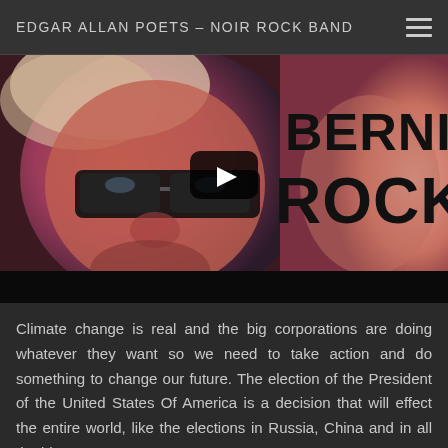EDGAR ALLAN POETS – NOIR ROCK BAND
[Figure (screenshot): Video thumbnail showing a stylized red/purple graphic image of Bernie Sanders with text 'BERNIE ROCKS' in bold black font on the right side, with a YouTube-style play button overlay in the center.]
Climate change is real and the big corporations are doing whatever they want so we need to take action and do something to change our future. The election of the President of the United States Of America is a decision that will effect the entire world, like the elections in Russia, China and in all the big